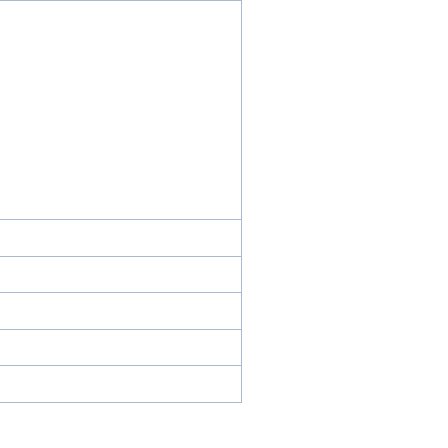| Field | Value |
| --- | --- |
| Group | Inhibition of Acetyl CoA Ca...
Inhibition of Acetolactate S...
Inhibition of Microtubule As... |
| Herbicides | chlorsulfuron, diclofop-met... |
| Location | Australia, Western Australi... |
| Year | 1982 |
| Situation(s) | Canola, Spring Barley, and... |
| Contributors - (Alphabetically) | David Bowran, Gurgeet Gi... |
Edit this Case | Add Ne...
NOTES AB...
AREAS FOUND
Stephen Powles
Weed Technology: Vol. 15, No. 2, pp. 242–248. High Leve... of Herbicide Resistance in Rigid Ryegrass (Lolium rigidum...